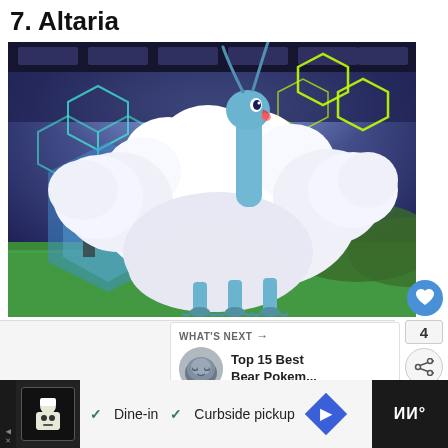7. Altaria
[Figure (screenshot): Screenshot of Altaria, a Dragon/Flying-type Pokemon from Pokemon Sword/Shield, shown in a stadium battle environment. Altaria has a blue serpentine body with large fluffy white cloud-like wings, standing on a green field with a futuristic blue hexagon stadium in the background.]
4
WHAT'S NEXT → Top 15 Best Bear Pokem...
[Figure (advertisement): Advertisement banner showing a restaurant ad with chef logo, checkmarks for Dine-in and Curbside pickup options, and a navigation icon on the right.]